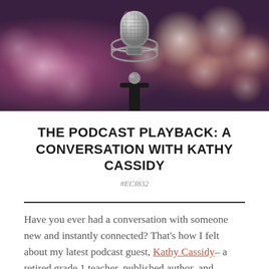[Figure (photo): A close-up photo of a professional studio microphone with a shock mount against a blurred bokeh background of pink, purple, and warm white lights.]
THE PODCAST PLAYBACK: A CONVERSATION WITH KATHY CASSIDY
#ECI832
Have you ever had a conversation with someone new and instantly connected? That's how I felt about my latest podcast guest, Kathy Cassidy– a retired grade 1 teacher, published author, and classroom blogging expert. Talking to her was like having coffee with a dear friend. She shared so much knowledge and